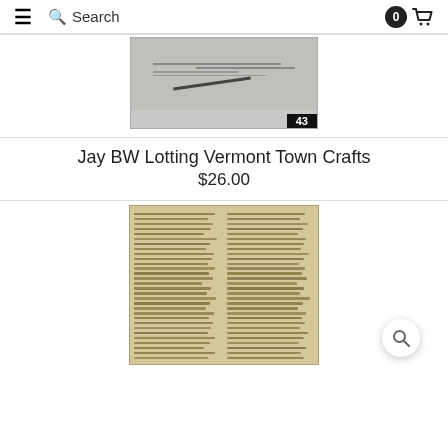☰  🔍 Search  0 🛒
[Figure (photo): Black and white scan of a historical map or document page with page number 43 shown in a black bar at the bottom right]
Jay BW Lotting Vermont Town Crafts
$26.00
[Figure (photo): Aged yellowed historical handwritten document with two columns of text listing names and numbers, appearing to be a ledger or land record]